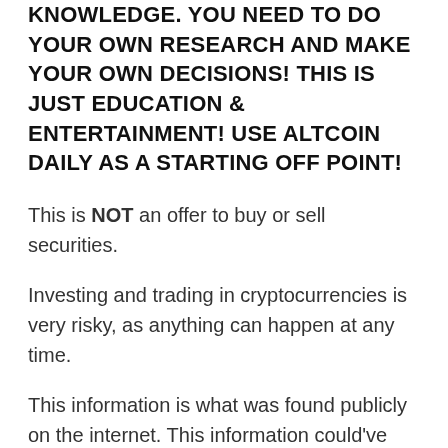KNOWLEDGE. YOU NEED TO DO YOUR OWN RESEARCH AND MAKE YOUR OWN DECISIONS! THIS IS JUST EDUCATION & ENTERTAINMENT! USE ALTCOIN DAILY AS A STARTING OFF POINT!
This is NOT an offer to buy or sell securities.
Investing and trading in cryptocurrencies is very risky, as anything can happen at any time.
This information is what was found publicly on the internet. This information could've been doctored or misrepresented by the internet. All information is meant for public awareness and is public domain. This information is not intended to slander harm or defame any of the actors involved but to show what was said